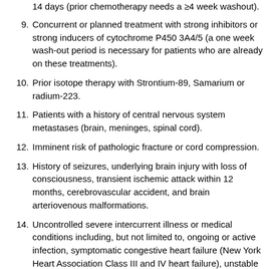14 days (prior chemotherapy needs a ≥4 week washout).
9. Concurrent or planned treatment with strong inhibitors or strong inducers of cytochrome P450 3A4/5 (a one week wash-out period is necessary for patients who are already on these treatments).
10. Prior isotope therapy with Strontium-89, Samarium or radium-223.
11. Patients with a history of central nervous system metastases (brain, meninges, spinal cord).
12. Imminent risk of pathologic fracture or cord compression.
13. History of seizures, underlying brain injury with loss of consciousness, transient ischemic attack within 12 months, cerebrovascular accident, and brain arteriovenous malformations.
14. Uncontrolled severe intercurrent illness or medical conditions including, but not limited to, ongoing or active infection, symptomatic congestive heart failure (New York Heart Association Class III and IV heart failure), unstable